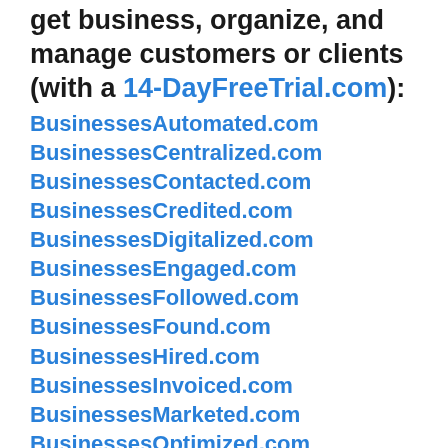get business, organize, and manage customers or clients (with a 14-DayFreeTrial.com):
BusinessesAutomated.com
BusinessesCentralized.com
BusinessesContacted.com
BusinessesCredited.com
BusinessesDigitalized.com
BusinessesEngaged.com
BusinessesFollowed.com
BusinessesFound.com
BusinessesHired.com
BusinessesInvoiced.com
BusinessesMarketed.com
BusinessesOptimized.com
BusinessesOrganized.com
BusinessesPaid.com
BusinessesPosted.com
BusinessesPromoted.com
BusinessesReviewed.com